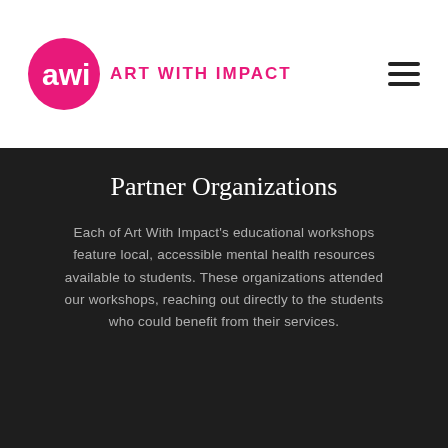ART WITH IMPACT
Partner Organizations
Each of Art With Impact's educational workshops feature local, accessible mental health resources available to students. These organizations attended our workshops, reaching out directly to the students who could benefit from their services.